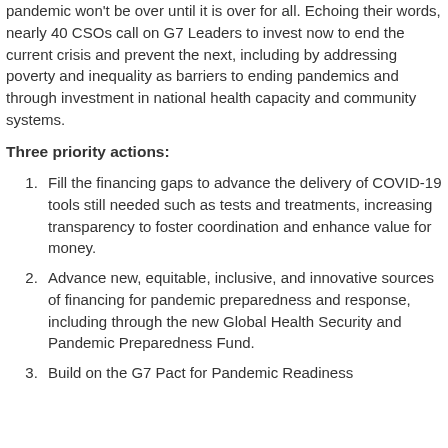pandemic won't be over until it is over for all. Echoing their words, nearly 40 CSOs call on G7 Leaders to invest now to end the current crisis and prevent the next, including by addressing poverty and inequality as barriers to ending pandemics and through investment in national health capacity and community systems.
Three priority actions:
Fill the financing gaps to advance the delivery of COVID-19 tools still needed such as tests and treatments, increasing transparency to foster coordination and enhance value for money.
Advance new, equitable, inclusive, and innovative sources of financing for pandemic preparedness and response, including through the new Global Health Security and Pandemic Preparedness Fund.
Build on the G7 Pact for Pandemic Readiness